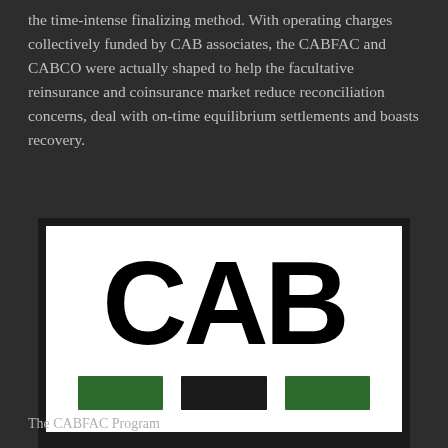the time-intense finalizing method. With operating charges collectively funded by CAB associates, the CABFAC and CABCO were actually shaped to help the facultative reinsurance and coinsurance market reduce reconciliation concerns, deal with on-time equilibrium settlements and boasts recovery.
[Figure (logo): CAB logo — large black letters C, A, B on white background with three colored rectangles below: green, black, green]
The CABFAC Program